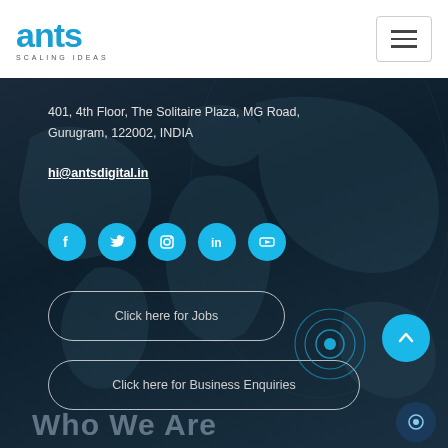ants SCALING IDEAS
401, 4th Floor, The Solitaire Plaza, MG Road, Gurugram, 122002, INDIA
hi@antsdigital.in
[Figure (infographic): Row of 5 cyan circular social media icons: Facebook, Twitter, Instagram, LinkedIn, YouTube]
Click here for Jobs
Click here for Business Enquiries
Who We Are